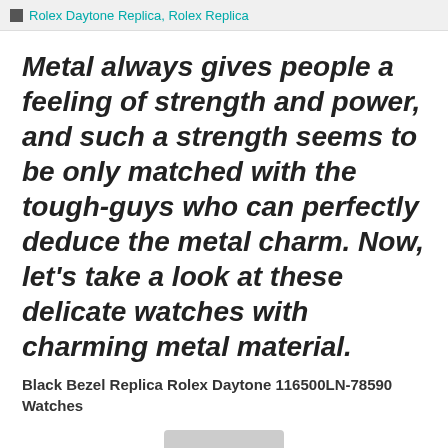Rolex Daytone Replica, Rolex Replica
Metal always gives people a feeling of strength and power, and such a strength seems to be only matched with the tough-guys who can perfectly deduce the metal charm. Now, let's take a look at these delicate watches with charming metal material.
Black Bezel Replica Rolex Daytone 116500LN-78590 Watches